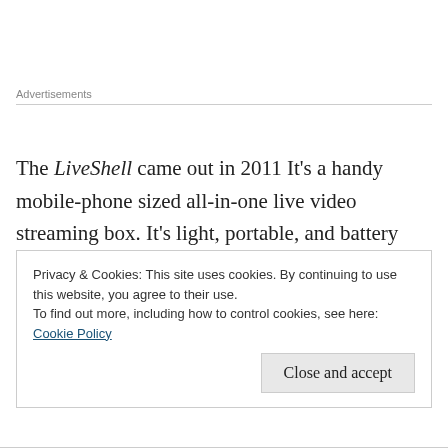Advertisements
The LiveShell came out in 2011 It's a handy mobile-phone sized all-in-one live video streaming box. It's light, portable, and battery powered. It takes HDMI Video In, up to 576i. It has a separate Audio Line In source, and also the option for a break-out cable so you can also use Composite Video In if required.
Privacy & Cookies: This site uses cookies. By continuing to use this website, you agree to their use.
To find out more, including how to control cookies, see here: Cookie Policy
Close and accept